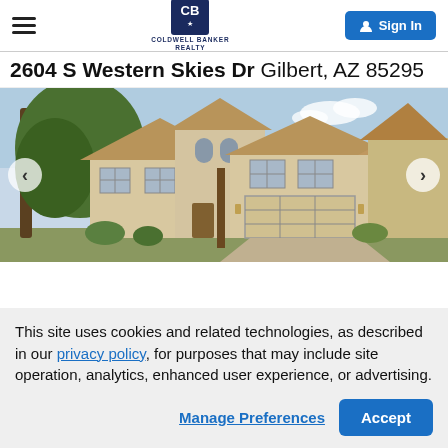Coldwell Banker Realty header with hamburger menu, logo, and Sign In button
2604 S Western Skies Dr Gilbert, AZ 85295
[Figure (photo): Exterior photo of a two-story beige stucco house with tile roof, garage, and desert landscaping, with carousel navigation arrows on left and right]
This site uses cookies and related technologies, as described in our privacy policy, for purposes that may include site operation, analytics, enhanced user experience, or advertising.
Manage Preferences | Accept